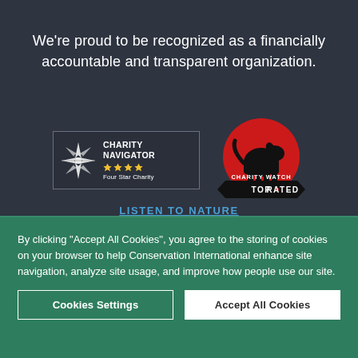We're proud to be recognized as a financially accountable and transparent organization.
[Figure (logo): Charity Navigator Four Star Charity badge with compass-rose logo and four gold stars]
[Figure (logo): Charity Watch Top-Rated badge with red circle, dog silhouette, and black banner reading TOP RATED]
LISTEN TO NATURE
By clicking “Accept All Cookies”, you agree to the storing of cookies on your browser to help Conservation International enhance site navigation, analyze site usage, and improve how people use our site.
Cookies Settings
Accept All Cookies